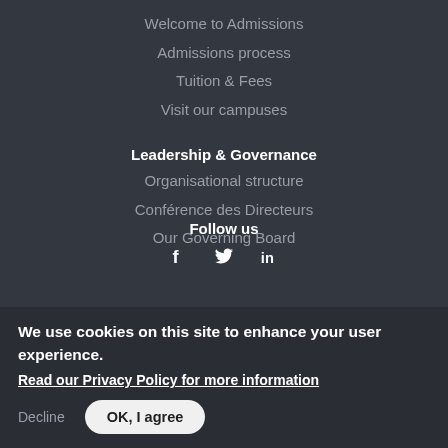Welcome to Admissions
Admissions process
Tuition & Fees
Visit our campuses
Leadership & Governance
Organisational structure
Conférence des Directeurs
Our Governing Board
Follow us
[Figure (infographic): Social media icons: Facebook (f), Twitter (bird), LinkedIn (in)]
We use cookies on this site to enhance your user experience. Read our Privacy Policy for more information
Decline
OK, I agree